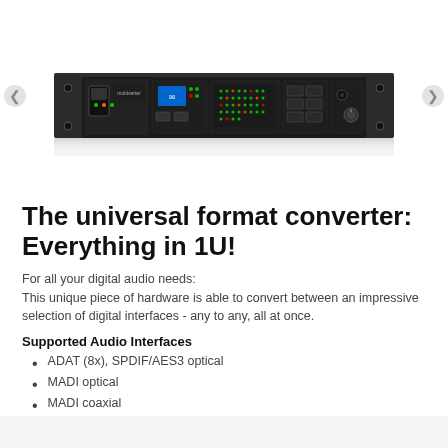[Figure (photo): A rack-mounted 1U audio format converter device called 'multiverter', black chassis with various digital audio interface connectors, LED indicators, and control knobs on the front panel.]
The universal format converter: Everything in 1U!
For all your digital audio needs:
This unique piece of hardware is able to convert between an impressive selection of digital interfaces - any to any, all at once.
Supported Audio Interfaces
ADAT (8x), SPDIF/AES3 optical
MADI optical
MADI coaxial